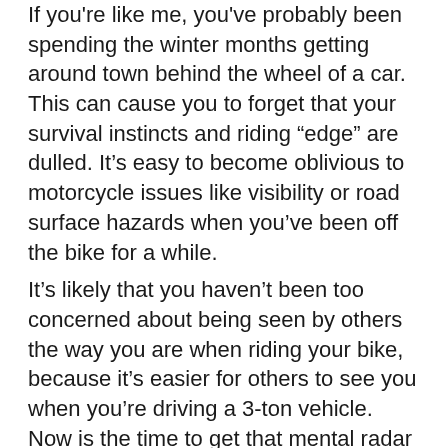If you're like me, you've probably been spending the winter months getting around town behind the wheel of a car. This can cause you to forget that your survival instincts and riding “edge” are dulled. It’s easy to become oblivious to motorcycle issues like visibility or road surface hazards when you’ve been off the bike for a while.
It’s likely that you haven’t been too concerned about being seen by others the way you are when riding your bike, because it’s easier for others to see you when you’re driving a 3-ton vehicle. Now is the time to get that mental radar fired up so you can deal with all the distracted and complacent drivers. Remember that drivers haven’t seen bikes on the road for several months or weeks and won’t be looking for you.
Also, you probably haven’t been too concerned about road surface hazards, because most surface conditions are of little concern when you have four wheels beneath you. Get your road surface sensors sharpened before